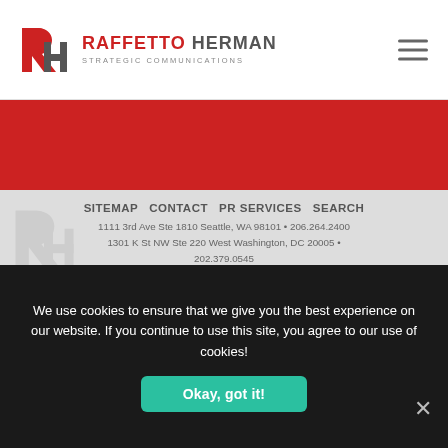[Figure (logo): Raffetto Herman Strategic Communications logo with red RH monogram]
SITEMAP  CONTACT  PR SERVICES  SEARCH
1111 3rd Ave Ste 1810 Seattle, WA 98101 • 206.264.2400
1301 K St NW Ste 220 West Washington, DC 20005 • 202.379.0545
© 2022 RH Strategic Communications - All Rights are reserved.
A partner in
WORLDCOM
We use cookies to ensure that we give you the best experience on our website. If you continue to use this site, you agree to our use of cookies!